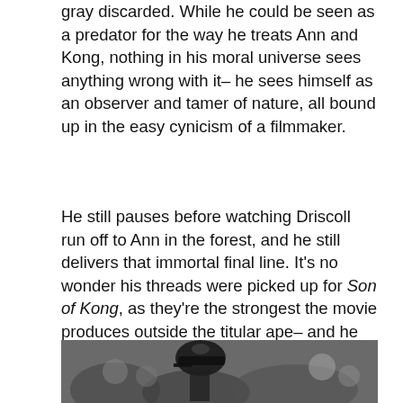gray discarded. While he could be seen as a predator for the way he treats Ann and Kong, nothing in his moral universe sees anything wrong with it– he sees himself as an observer and tamer of nature, all bound up in the easy cynicism of a filmmaker.
He still pauses before watching Driscoll run off to Ann in the forest, and he still delivers that immortal final line. It's no wonder his threads were picked up for Son of Kong, as they're the strongest the movie produces outside the titular ape– and he wasn't coming back. (Unless they'd have built him a robot heart. But that idea didn't strike anyone for 50 years for some reason.)
[Figure (photo): Black and white photograph showing a crowd of people, with a person in a dark uniform/cap visible prominently.]